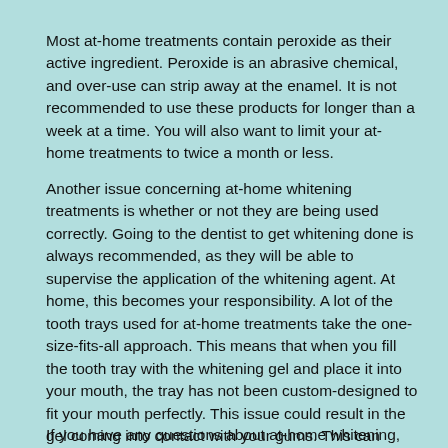Most at-home treatments contain peroxide as their active ingredient. Peroxide is an abrasive chemical, and over-use can strip away at the enamel. It is not recommended to use these products for longer than a week at a time. You will also want to limit your at-home treatments to twice a month or less.
Another issue concerning at-home whitening treatments is whether or not they are being used correctly. Going to the dentist to get whitening done is always recommended, as they will be able to supervise the application of the whitening agent. At home, this becomes your responsibility. A lot of the tooth trays used for at-home treatments take the one-size-fits-all approach. This means that when you fill the tooth tray with the whitening gel and place it into your mouth, the tray has not been custom-designed to fit your mouth perfectly. This issue could result in the gel coming into contact with your gums. This can cause irritated gums and tooth sensitivity.
If you have any questions about at-home whitening, this